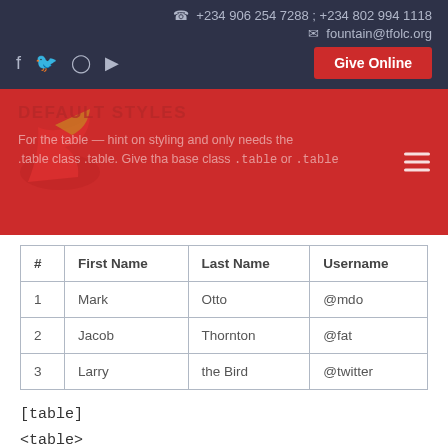☎ +234 906 254 7288 ; +234 802 994 1118
✉ fountain@tfolc.org
Give Online
DEFAULT STYLES
For the table — hint on styling and only needs the .table class .table. Give tha base class .table or .table
| # | First Name | Last Name | Username |
| --- | --- | --- | --- |
| 1 | Mark | Otto | @mdo |
| 2 | Jacob | Thornton | @fat |
| 3 | Larry | the Bird | @twitter |
[table]
<table>